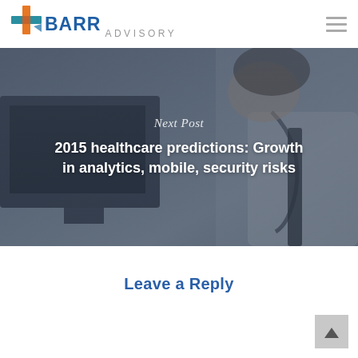[Figure (logo): BARR Advisory logo with orange and teal cross/plus icon and blue text 'BARR' with grey 'ADVISORY' subtitle]
[Figure (photo): Background photo of a doctor in white coat with stethoscope looking at a computer monitor, shown in dark, muted tones with overlay text]
Next Post
2015 healthcare predictions: Growth in analytics, mobile, security risks
Leave a Reply